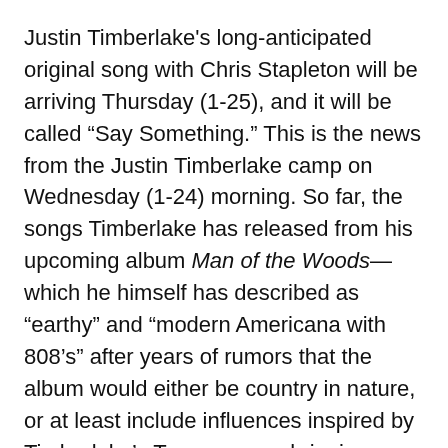Justin Timberlake's long-anticipated original song with Chris Stapleton will be arriving Thursday (1-25), and it will be called “Say Something.” This is the news from the Justin Timberlake camp on Wednesday (1-24) morning. So far, the songs Timberlake has released from his upcoming album Man of the Woods—which he himself has described as “earthy” and “modern Americana with 808’s” after years of rumors that the album would either be country in nature, or at least include influences inspired by Timberlake’s Tennessee upbringing—have been anything but earthy, country, or anything in between.
The very first track from Man of the Woods called “Filthy” was about the most technology-driven song